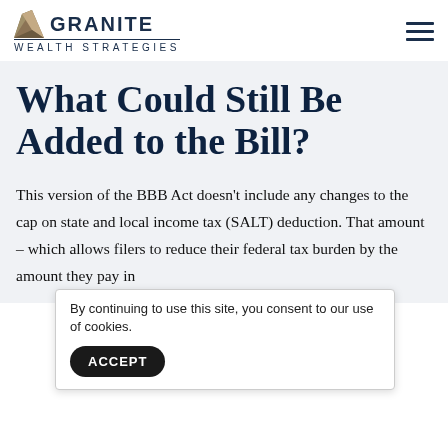GRANITE WEALTH STRATEGIES
What Could Still Be Added to the Bill?
This version of the BBB Act doesn't include any changes to the cap on state and local income tax (SALT) deduction. That amount – which allows filers to reduce their federal tax burden by the amount they pay in... p... ill re...
By continuing to use this site, you consent to our use of cookies.